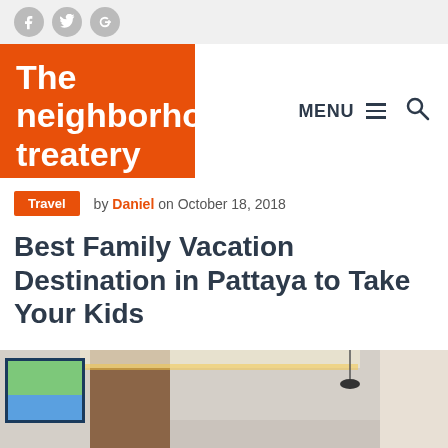Social icons: Facebook, Twitter, Google+
The neighborhood treatery
MENU
by Daniel on October 18, 2018
Best Family Vacation Destination in Pattaya to Take Your Kids
[Figure (photo): Interior hotel room photo showing a framed beach painting on a wall with warm ceiling lighting]